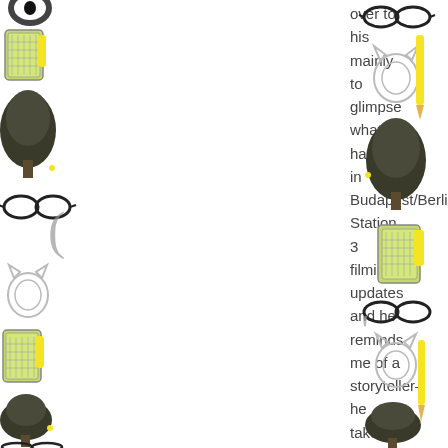[Figure (illustration): Decorative border on left side with repeating illustrated icons: glasses, tree, cat/animal, typewriter/grater, and other items in black, green and yellow colors]
over to his mainly to glimpse what is happening in Budapest/Berlin Station 3 filming updates and he reminds me of a storyteller– he takes his audience on a trip of
[Figure (illustration): Decorative border on right side with repeating illustrated icons: glasses, tree, cat/animal, typewriter with yellow, and other items in black, green and yellow colors]